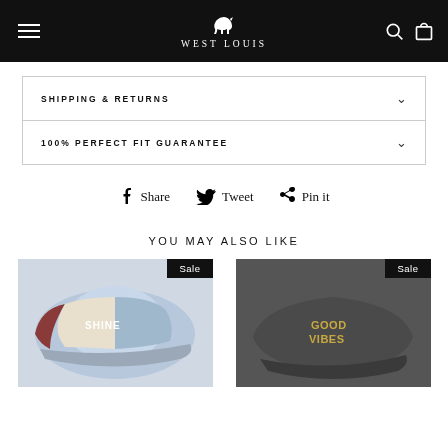WEST LOUIS
SHIPPING & RETURNS
100% PERFECT FIT GUARANTEE
f Share   Tweet   Pin it
YOU MAY ALSO LIKE
[Figure (photo): Baseball cap with SHINE text, blue/cream/maroon trucker style, Sale badge]
[Figure (photo): Dark grey baseball cap with GOOD VIBES embroidery in gold, Sale badge]